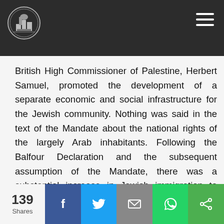Website header with logo and navigation menu
British High Commissioner of Palestine, Herbert Samuel, promoted the development of a separate economic and social infrastructure for the Jewish community. Nothing was said in the text of the Mandate about the national rights of the largely Arab inhabitants. Following the Balfour Declaration and the subsequent assumption of the Mandate, there was a substantial increase in Jewish immigration to Palestine.
139 Shares — social share bar (Facebook, Twitter, Email, WhatsApp, Share)